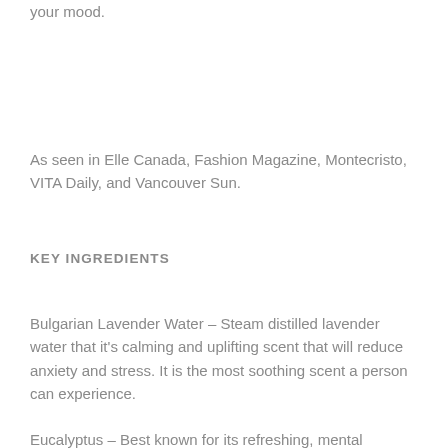your mood.
As seen in Elle Canada, Fashion Magazine, Montecristo, VITA Daily, and Vancouver Sun.
KEY INGREDIENTS
Bulgarian Lavender Water – Steam distilled lavender water that it's calming and uplifting scent that will reduce anxiety and stress. It is the most soothing scent a person can experience.
Eucalyptus – Best known for its refreshing, mental invigorating